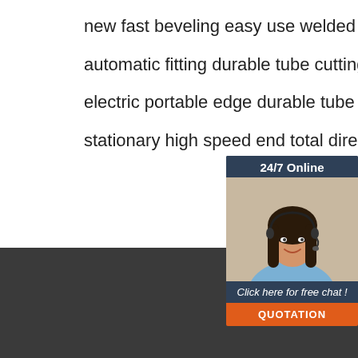new fast beveling easy use welded steel tube
automatic fitting durable tube cutting equipment
electric portable edge durable tube production line
stationary high speed end total direct tube tube welding
[Figure (other): 24/7 Online chat widget with a woman wearing a headset, and a QUOTATION button]
Contact Us